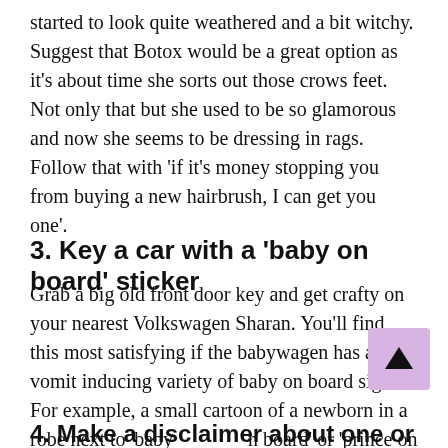started to look quite weathered and a bit witchy. Suggest that Botox would be a great option as it’s about time she sorts out those crows feet. Not only that but she used to be so glamorous and now she seems to be dressing in rags. Follow that with ‘if it’s money stopping you from buying a new hairbrush, I can get you one’.
3. Key a car with a ‘baby on board’ sticker
Grab a big old front door key and get crafty on your nearest Volkswagen Sharan. You’ll find this most satisfying if the babywagen has a vomit inducing variety of baby on board sign. For example, a small cartoon of a newborn in a robe next to ‘baby on board’ or ‘prince on board’ in a Disney font.
4. Make a disclaimer about one or the